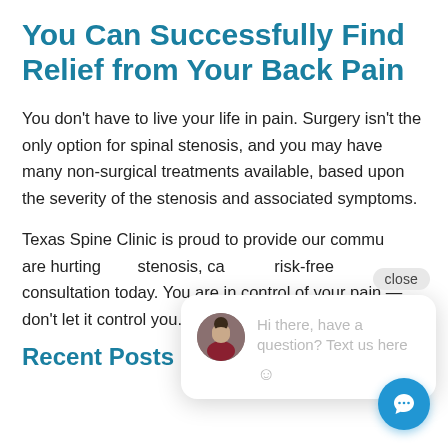You Can Successfully Find Relief from Your Back Pain
You don't have to live your life in pain. Surgery isn't the only option for spinal stenosis, and you may have many non-surgical treatments available, based upon the severity of the stenosis and associated symptoms.
Texas Spine Clinic is proud to provide our community... are hurting and... stenosis, ca... risk-free consultation today. You are in control of your pain — don't let it control you.
[Figure (screenshot): Chat popup widget showing a close button, avatar of a woman, and message 'Hi there, have a question? Text us here' with a smiley emoji, plus a blue chat button in the bottom right corner.]
Recent Posts